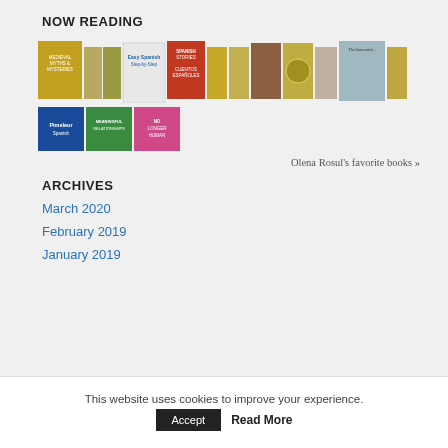NOW READING
[Figure (illustration): A horizontal shelf of book cover images, two rows. Row 1 shows approximately 12 book covers including 'Medieval Myths & Mysteries', 'Easy Spanish Step-by-Step', 'Spanish Stories / Cuentos Españoles', and others with gold/yellow spines. Row 2 shows 3 books: Pimsleur Spanish (blue), a green cover 'Meaningful Relationships', and a pink cover 'No Longer Human'.]
Olena Rosul's favorite books »
ARCHIVES
March 2020
February 2019
January 2019
This website uses cookies to improve your experience.
Accept    Read More